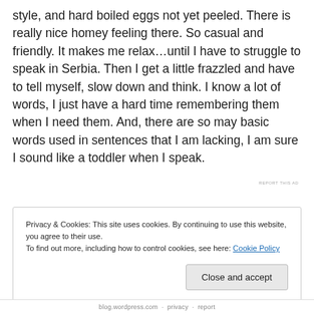style, and hard boiled eggs not yet peeled. There is really nice homey feeling there. So casual and friendly. It makes me relax…until I have to struggle to speak in Serbia. Then I get a little frazzled and have to tell myself, slow down and think. I know a lot of words, I just have a hard time remembering them when I need them. And, there are so may basic words used in sentences that I am lacking, I am sure I sound like a toddler when I speak.
REPORT THIS AD
Privacy & Cookies: This site uses cookies. By continuing to use this website, you agree to their use.
To find out more, including how to control cookies, see here: Cookie Policy
Close and accept